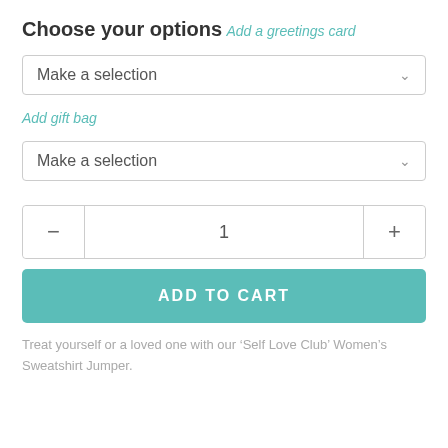Choose your options
Add a greetings card
Make a selection
Add gift bag
Make a selection
1
ADD TO CART
Treat yourself or a loved one with our ‘Self Love Club’ Women’s Sweatshirt Jumper.